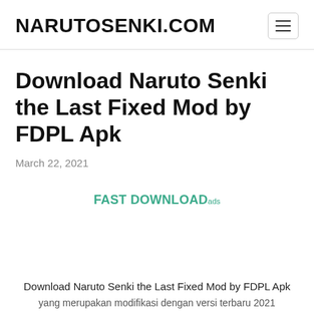NARUTOSENKI.COM
Download Naruto Senki the Last Fixed Mod by FDPL Apk
March 22, 2021
FAST DOWNLOADads
Download Naruto Senki the Last Fixed Mod by FDPL Apk yang merupakan modifikasi dengan versi terbaru 2021